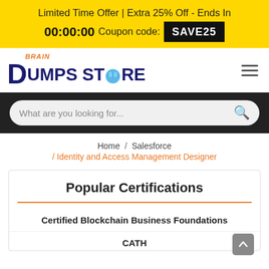Limited Time Offer | Extra 25% Off - Ends In 00:00:00 Coupon code: SAVE25
[Figure (logo): BrainDumpsStore logo with orange 'Brain' text and blue 'DUMPS STORE' text with brain icon]
What are you looking for...
Home / Salesforce / Identity and Access Management Designer
Popular Certifications
Certified Blockchain Business Foundations
CATH